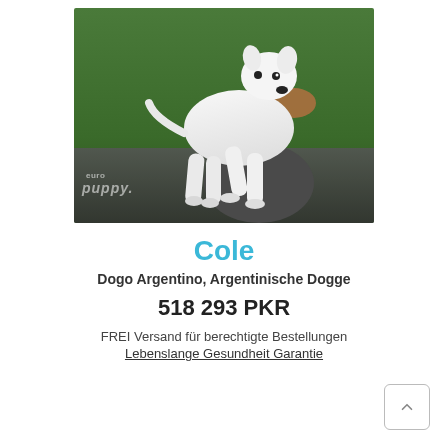[Figure (photo): A white Dogo Argentino puppy standing, being held by a person's hand, with a green blurred outdoor background. Euro Puppy watermark visible in lower left of image.]
Cole
Dogo Argentino, Argentinische Dogge
518 293 PKR
FREI Versand für berechtigte Bestellungen
Lebenslange Gesundheit Garantie